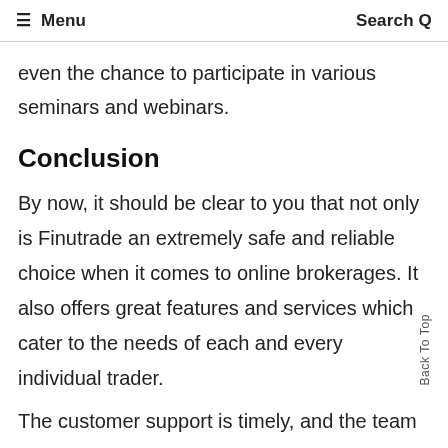≡ Menu   Search Q
even the chance to participate in various seminars and webinars.
Conclusion
By now, it should be clear to you that not only is Finutrade an extremely safe and reliable choice when it comes to online brokerages. It also offers great features and services which cater to the needs of each and every individual trader.
The customer support is timely, and the team is